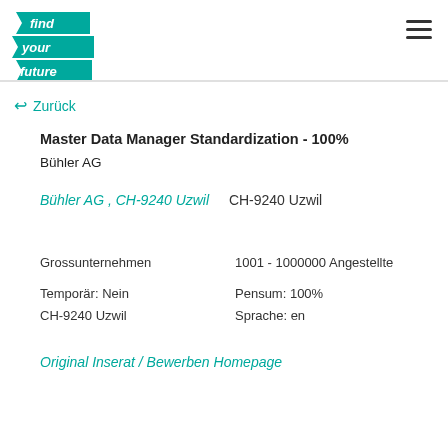[Figure (logo): find your future logo with teal ribbon banner]
← Zurück
Master Data Manager Standardization - 100%
Bühler AG
Bühler AG , CH-9240 Uzwil   CH-9240 Uzwil
Grossunternehmen   1001 - 1000000 Angestellte
Temporär: Nein   Pensum: 100%
CH-9240 Uzwil   Sprache: en
Original Inserat / Bewerben Homepage